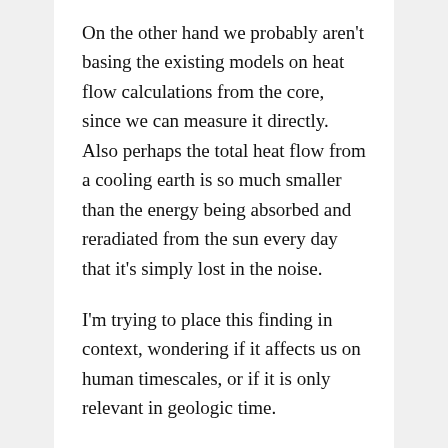On the other hand we probably aren't basing the existing models on heat flow calculations from the core, since we can measure it directly. Also perhaps the total heat flow from a cooling earth is so much smaller than the energy being absorbed and reradiated from the sun every day that it's simply lost in the noise.
I'm trying to place this finding in context, wondering if it affects us on human timescales, or if it is only relevant in geologic time.
[Figure (logo): Red geometric logo with cross/plus shape and diamond pattern made of interlocking red and white shapes]